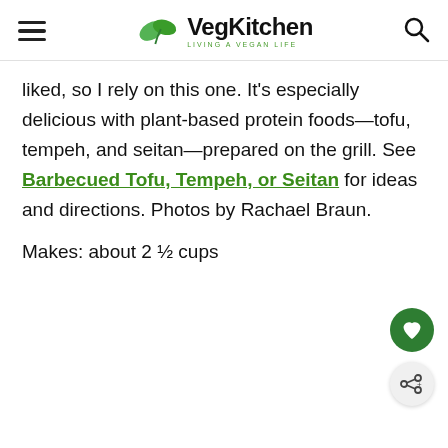VegKitchen — LIVING A VEGAN LIFE
liked, so I rely on this one. It's especially delicious with plant-based protein foods—tofu, tempeh, and seitan—prepared on the grill. See Barbecued Tofu, Tempeh, or Seitan for ideas and directions. Photos by Rachael Braun.
Makes: about 2 ½ cups